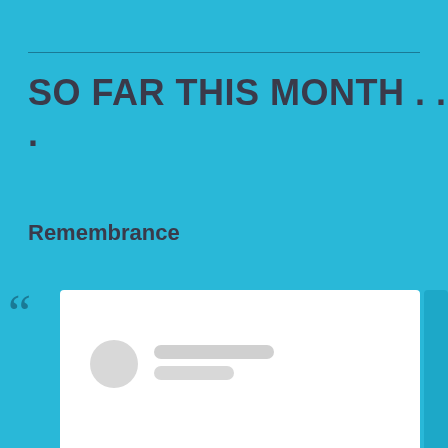SO FAR THIS MONTH . . .
Remembrance
[Figure (screenshot): A white card with a circular user avatar placeholder and two grey placeholder text bars, representing a social media post or profile card.]